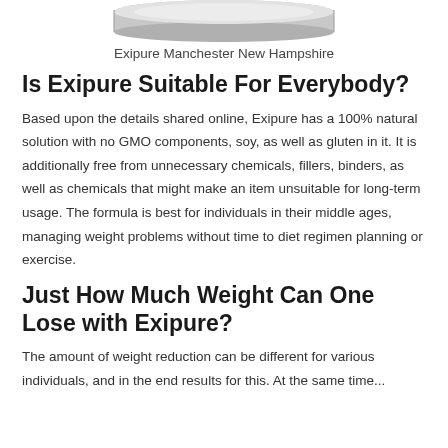[Figure (photo): Bottom portion of a product jar/container, showing the base of a supplement bottle with a white/silver lid, cropped at the top]
Exipure Manchester New Hampshire
Is Exipure Suitable For Everybody?
Based upon the details shared online, Exipure has a 100% natural solution with no GMO components, soy, as well as gluten in it. It is additionally free from unnecessary chemicals, fillers, binders, as well as chemicals that might make an item unsuitable for long-term usage. The formula is best for individuals in their middle ages, managing weight problems without time to diet regimen planning or exercise.
Just How Much Weight Can One Lose with Exipure?
The amount of weight reduction can be different for various individuals, and in the end results for this. At the same time...